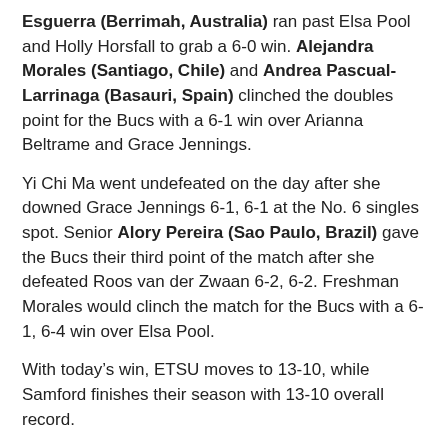Esguerra (Berrimah, Australia) ran past Elsa Pool and Holly Horsfall to grab a 6-0 win. Alejandra Morales (Santiago, Chile) and Andrea Pascual-Larrinaga (Basauri, Spain) clinched the doubles point for the Bucs with a 6-1 win over Arianna Beltrame and Grace Jennings.
Yi Chi Ma went undefeated on the day after she downed Grace Jennings 6-1, 6-1 at the No. 6 singles spot. Senior Alory Pereira (Sao Paulo, Brazil) gave the Bucs their third point of the match after she defeated Roos van der Zwaan 6-2, 6-2. Freshman Morales would clinch the match for the Bucs with a 6-1, 6-4 win over Elsa Pool.
With today’s win, ETSU moves to 13-10, while Samford finishes their season with 13-10 overall record.
No. 1 Furman topped No. 3 Chattanooga 4-0 to claim the second spot in the championship match. First serve between the Bucs and the Paladins is set for 2:00 p.m., April 22 at the McCallie School.
Singles competition